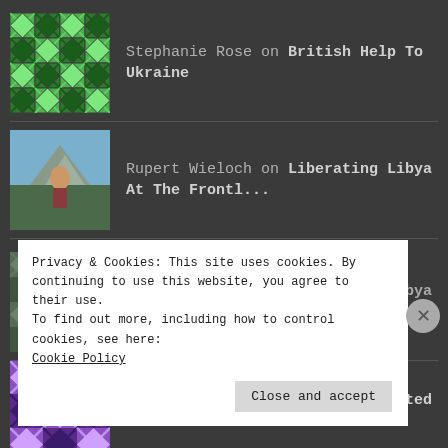Stephanie Rose on British Help To Ukraine
Rupert Wieloch on Liberating Libya At The Frontl...
Stephanie Rose on Liberating Libya At The Frontl...
JUSTIN BOSANQUET on The Integrated Defence Review...
Privacy & Cookies: This site uses cookies. By continuing to use this website, you agree to their use.
To find out more, including how to control cookies, see here: Cookie Policy
Close and accept